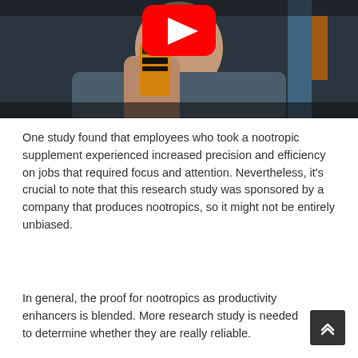[Figure (screenshot): YouTube video thumbnail showing a person in a dark grey hoodie holding a supplement container. A YouTube play button (red with white triangle) is overlaid in the center top area. Background shows clothing items hanging.]
One study found that employees who took a nootropic supplement experienced increased precision and efficiency on jobs that required focus and attention. Nevertheless, it's crucial to note that this research study was sponsored by a company that produces nootropics, so it might not be entirely unbiased.
In general, the proof for nootropics as productivity enhancers is blended. More research study is needed to determine whether they are really reliable.